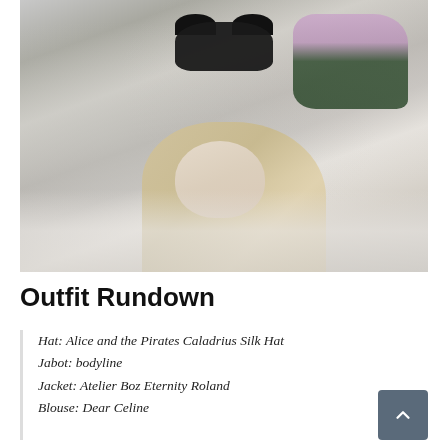[Figure (photo): Overhead/top-down fashion photo of a blonde woman lying down, wearing a black cat-ear hat, surrounded by purple flowers and dark foliage, with a white fur garment visible. Muted grey-white background.]
Outfit Rundown
Hat: Alice and the Pirates Caladrius Silk Hat
Jabot: bodyline
Jacket: Atelier Boz Eternity Roland
Blouse: Dear Celine